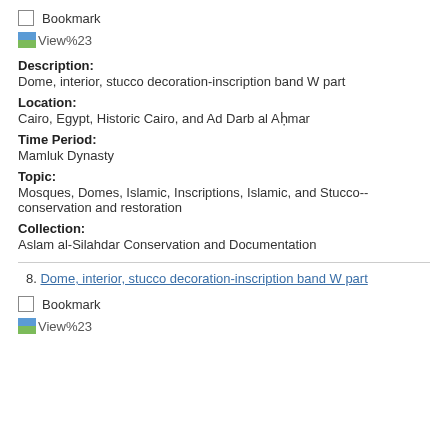Bookmark
[Figure (screenshot): View%23 icon with small landscape thumbnail]
Description:
Dome, interior, stucco decoration-inscription band W part
Location:
Cairo, Egypt, Historic Cairo, and Ad Darb al Aḥmar
Time Period:
Mamluk Dynasty
Topic:
Mosques, Domes, Islamic, Inscriptions, Islamic, and Stucco--conservation and restoration
Collection:
Aslam al-Silahdar Conservation and Documentation
8. Dome, interior, stucco decoration-inscription band W part
Bookmark
[Figure (screenshot): View%23 icon with small landscape thumbnail]